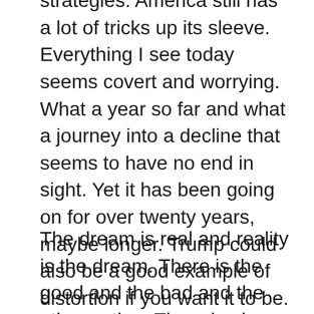strategies. America still has a lot of tricks up its sleeve. Everything I see today seems covert and worrying. What a year so far and what a journey into a decline that seems to have no end in sight. Yet it has been going on for over twenty years, maybe longer. Trump could also be a good example of distortion if you want it to be. He changed the narrative into a self grandiose story of greatness and beating back the decline we have seen gnawing at us over decades. There are global strategic policies and regional strategic policies that seem to no longer coalesce. One cuts off the other and the other declines only to make the whole decline. Yet the distortion only makes reality slip away one tweet at a time.
The dream is real and reality is the dream. There is the good and the bad and the other option. There is always a third option. There can be good in the bad and bad in the good but also something unusual. Maybe this year is the...